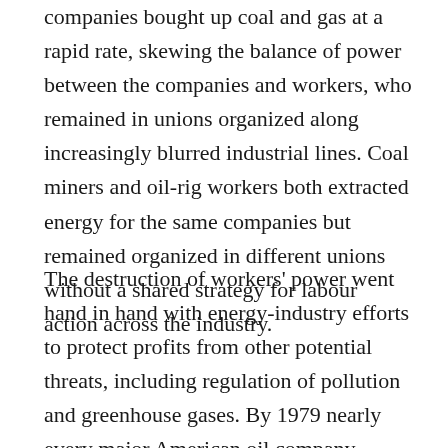companies bought up coal and gas at a rapid rate, skewing the balance of power between the companies and workers, who remained in unions organized along increasingly blurred industrial lines. Coal miners and oil-rig workers both extracted energy for the same companies but remained organized in different unions without a shared strategy for labour action across the industry.
The destruction of workers' power went hand in hand with energy-industry efforts to protect profits from other potential threats, including regulation of pollution and greenhouse gases. By 1979 nearly every major American oil company joined in an American Petroleum Institute initiative to share research about the potential impact of climate